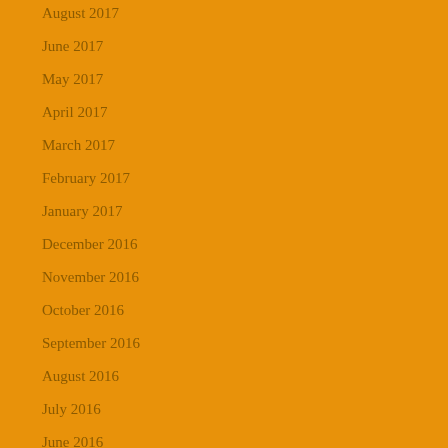August 2017
June 2017
May 2017
April 2017
March 2017
February 2017
January 2017
December 2016
November 2016
October 2016
September 2016
August 2016
July 2016
June 2016
May 2016